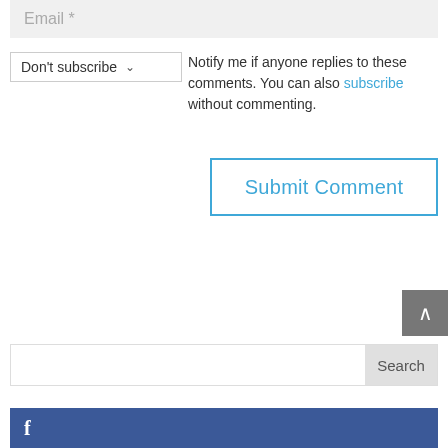Email *
Don't subscribe ▾ Notify me if anyone replies to these comments. You can also subscribe without commenting.
Submit Comment
[Figure (other): Back to top button arrow]
Search
[Figure (other): Facebook social media bar with f icon]